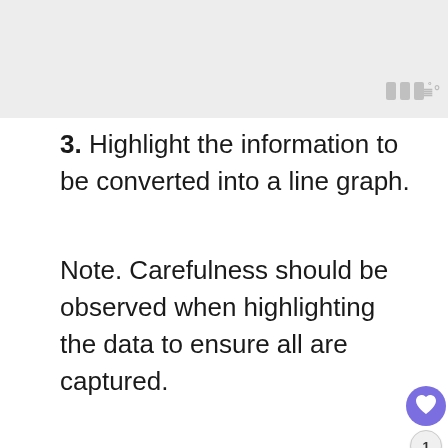[Figure (screenshot): Top portion of a gray screenshot area with a watermark logo (III°) in the top-right corner]
3. Highlight the information to be converted into a line graph.
Note. Carefulness should be observed when highlighting the data to ensure all are captured.
[Figure (screenshot): Excel ribbon screenshot showing FILE, HOME, INSERT, PAGE LAYOUT, FORMULAS, DATA, REVIEW, VIEW, DEVELOPER tabs with clipboard, font, and alignment groups. Formula bar shows B9 cell with value 200. A 'WHAT'S NEXT' sidebar shows 'How to remove...']
[Figure (screenshot): CVS Health & Wellness Products advertisement with CVS Pharmacy logo and navigation arrow]